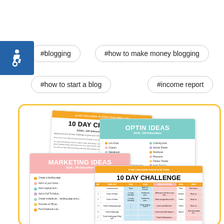[Figure (illustration): Accessibility icon (wheelchair symbol) on blue background in top-left corner]
#blogging
#how to make money blogging
#how to start a blog
#income report
[Figure (illustration): Promotional image showing overlapping document cards: '10 Day Challenge' cards, 'Optin Ideas' card, and 'Marketing Ideas' card inside a yellow-bordered box]